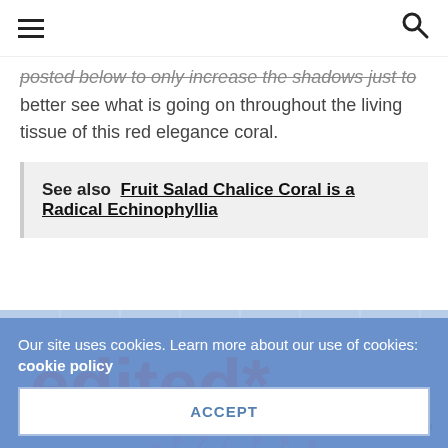≡  🔍
posted below to only increase the shadows just to better see what is going on throughout the living tissue of this red elegance coral.
See also  Fruit Salad Chalice Coral is a Radical Echinophyllia
[Figure (photo): Photo of a red elegance coral with pink tentacles on a blue tiled background, overlaid with 'edited*' text in red]
Our site uses cookies. Learn more about our use of cookies: cookie policy
ACCEPT